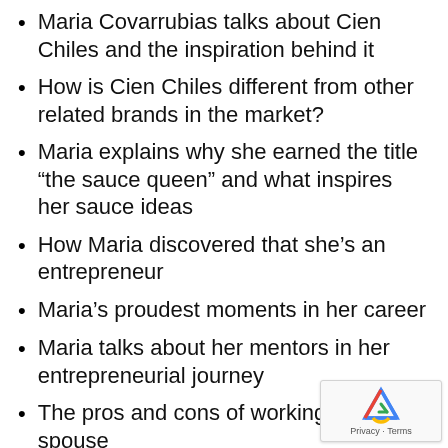Maria Covarrubias talks about Cien Chiles and the inspiration behind it
How is Cien Chiles different from other related brands in the market?
Maria explains why she earned the title “the sauce queen” and what inspires her sauce ideas
How Maria discovered that she’s an entrepreneur
Maria’s proudest moments in her career
Maria talks about her mentors in her entrepreneurial journey
The pros and cons of working with a spouse
Advice to entrepreneurs, creators, and innovators
What’s next for Cien Chiles?
Maria gives a shout out to women